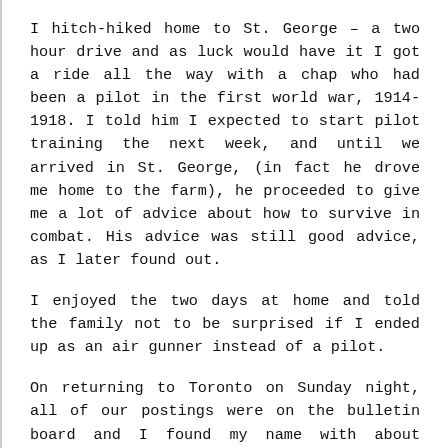I hitch-hiked home to St. George – a two hour drive and as luck would have it I got a ride all the way with a chap who had been a pilot in the first world war, 1914-1918. I told him I expected to start pilot training the next week, and until we arrived in St. George, (in fact he drove me home to the farm), he proceeded to give me a lot of advice about how to survive in combat. His advice was still good advice, as I later found out.
I enjoyed the two days at home and told the family not to be surprised if I ended up as an air gunner instead of a pilot.
On returning to Toronto on Sunday night, all of our postings were on the bulletin board and I found my name with about twenty others on a posting to the Elementary Flying Training School at Windsor Mills, Quebec, for pilot training. I was so happy, I cried.